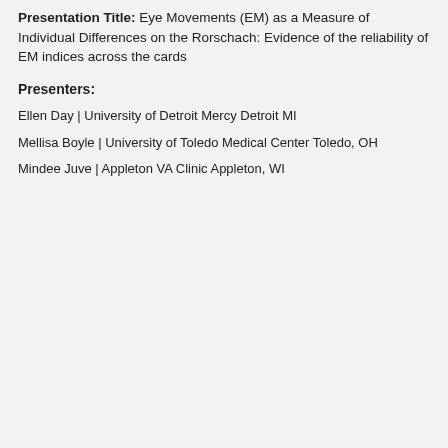Presentation Title: Eye Movements (EM) as a Measure of Individual Differences on the Rorschach: Evidence of the reliability of EM indices across the cards
Presenters:
Ellen Day | University of Detroit Mercy Detroit MI
Mellisa Boyle | University of Toledo Medical Center Toledo, OH
Mindee Juve | Appleton VA Clinic Appleton, WI